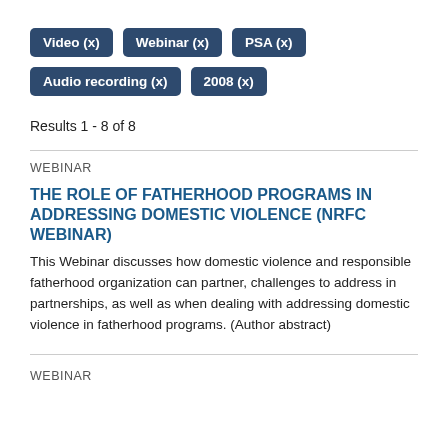Video (x)
Webinar (x)
PSA (x)
Audio recording (x)
2008 (x)
Results 1 - 8 of 8
WEBINAR
THE ROLE OF FATHERHOOD PROGRAMS IN ADDRESSING DOMESTIC VIOLENCE (NRFC WEBINAR)
This Webinar discusses how domestic violence and responsible fatherhood organization can partner, challenges to address in partnerships, as well as when dealing with addressing domestic violence in fatherhood programs. (Author abstract)
WEBINAR